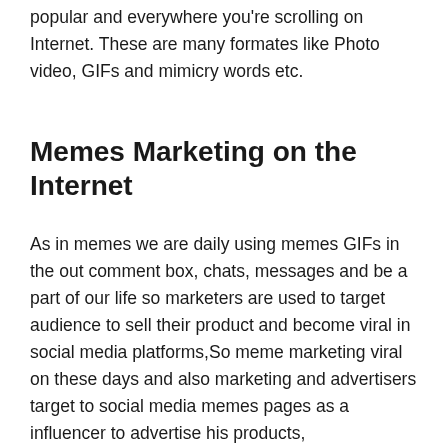popular and everywhere you're scrolling on Internet. These are many formates like Photo video, GIFs and mimicry words etc.
Memes Marketing on the Internet
As in memes we are daily using memes GIFs in the out comment box, chats, messages and be a part of our life so marketers are used to target audience to sell their product and become viral in social media platforms,So meme marketing viral on these days and also marketing and advertisers target to social media memes pages as a influencer to advertise his products,
What is meme wallpapers?
As you seen on internet and many wallpapers apps